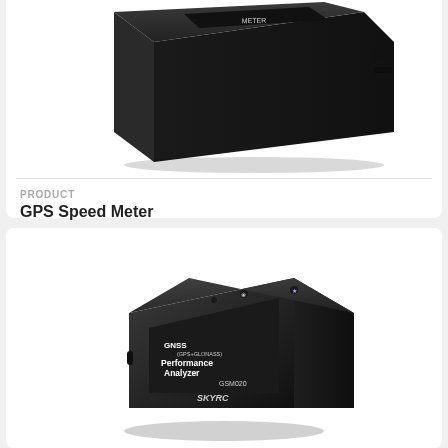[Figure (photo): Black GPS Speed Meter device shown at an angle from above, dark rectangular handheld device with small screen]
PRODUCT
GPS Speed Meter
$79.95
[Figure (photo): Black GNSS Performance Analyzer device (GSM020) by SKYRC, small square compact unit with Bluetooth symbol and other indicator lights on top face, shown at an angle]